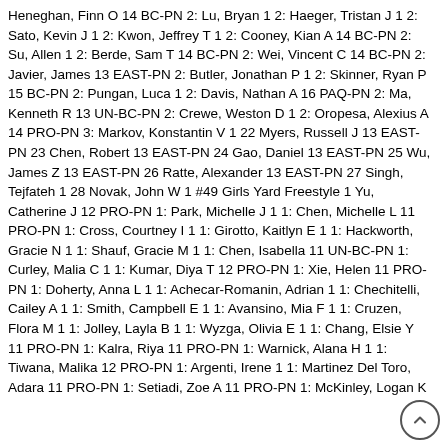Heneghan, Finn O 14 BC-PN 2: Lu, Bryan 1 2: Haeger, Tristan J 1 2: Sato, Kevin J 1 2: Kwon, Jeffrey T 1 2: Cooney, Kian A 14 BC-PN 2: Su, Allen 1 2: Berde, Sam T 14 BC-PN 2: Wei, Vincent C 14 BC-PN 2: Javier, James 13 EAST-PN 2: Butler, Jonathan P 1 2: Skinner, Ryan P 15 BC-PN 2: Pungan, Luca 1 2: Davis, Nathan A 16 PAQ-PN 2: Ma, Kenneth R 13 UN-BC-PN 2: Crewe, Weston D 1 2: Oropesa, Alexius A 14 PRO-PN 3: Markov, Konstantin V 1 22 Myers, Russell J 13 EAST-PN 23 Chen, Robert 13 EAST-PN 24 Gao, Daniel 13 EAST-PN 25 Wu, James Z 13 EAST-PN 26 Ratte, Alexander 13 EAST-PN 27 Singh, Tejfateh 1 28 Novak, John W 1 #49 Girls Yard Freestyle 1 Yu, Catherine J 12 PRO-PN 1: Park, Michelle J 1 1: Chen, Michelle L 11 PRO-PN 1: Cross, Courtney I 1 1: Girotto, Kaitlyn E 1 1: Hackworth, Gracie N 1 1: Shauf, Gracie M 1 1: Chen, Isabella 11 UN-BC-PN 1: Curley, Malia C 1 1: Kumar, Diya T 12 PRO-PN 1: Xie, Helen 11 PRO-PN 1: Doherty, Anna L 1 1: Achecar-Romanin, Adrian 1 1: Chechitelli, Cailey A 1 1: Smith, Campbell E 1 1: Avansino, Mia F 1 1: Cruzen, Flora M 1 1: Jolley, Layla B 1 1: Wyzga, Olivia E 1 1: Chang, Elsie Y 11 PRO-PN 1: Kalra, Riya 11 PRO-PN 1: Warnick, Alana H 1 1: Tiwana, Malika 12 PRO-PN 1: Argenti, Irene 1 1: Martinez Del Toro, Adara 11 PRO-PN 1: Setiadi, Zoe A 11 PRO-PN 1: McKinley, Logan K